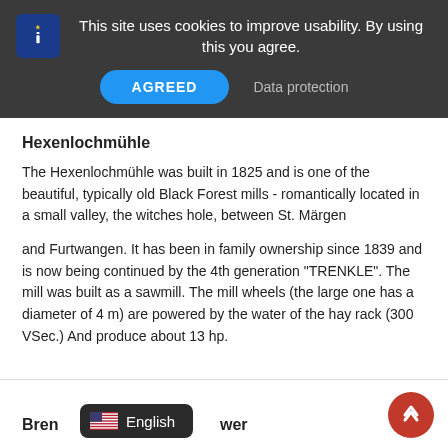[Figure (screenshot): Cookie consent banner with blue icon, agree button and data protection link]
Hexenlochmühle
The Hexenlochmühle was built in 1825 and is one of the beautiful, typically old Black Forest mills - romantically located in a small valley, the witches hole, between St. Märgen
and Furtwangen. It has been in family ownership since 1839 and is now being continued by the 4th generation "TRENKLE". The mill was built as a sawmill. The mill wheels (the large one has a diameter of 4 m) are powered by the water of the hay rack (300 VSec.) And produce about 13 hp.
Bren… wer
[Figure (screenshot): Language selector pill showing English flag and text, plus red scroll-to-top button]